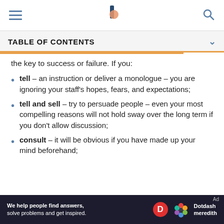TABLE OF CONTENTS
the key to success or failure. If you:
tell – an instruction or deliver a monologue – you are ignoring your staff's hopes, fears, and expectations;
tell and sell – try to persuade people – even your most compelling reasons will not hold sway over the long term if you don't allow discussion;
consult – it will be obvious if you have made up your mind beforehand;
[Figure (other): Dotdash Meredith advertisement banner: 'We help people find answers, solve problems and get inspired.']